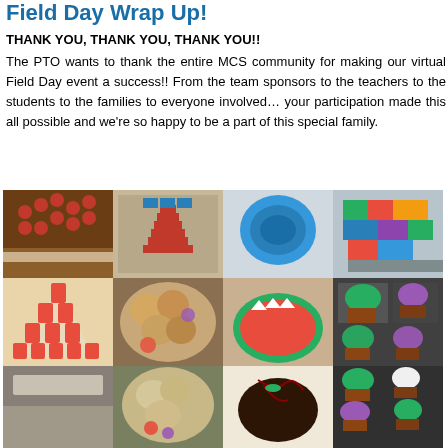Field Day Wrap Up!
THANK YOU, THANK YOU, THANK YOU!!
The PTO wants to thank the entire MCS community for making our virtual Field Day event a success!! From the team sponsors to the teachers to the students to the families to everyone involved… your participation made this all possible and we're so happy to be a part of this special family.
[Figure (photo): Collage of photos from the virtual Field Day event showing decorated cakes, food displays, cupcakes, and craft projects made by students and families.]